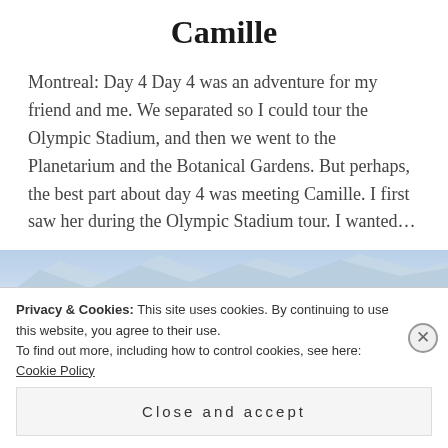Camille
Montreal: Day 4 Day 4 was an adventure for my friend and me. We separated so I could tour the Olympic Stadium, and then we went to the Planetarium and the Botanical Gardens. But perhaps, the best part about day 4 was meeting Camille. I first saw her during the Olympic Stadium tour. I wanted...
[Figure (other): READ MORE button (tan/beige colored rectangular button with white uppercase text)]
[Figure (photo): Partial photograph of snowy mountain peaks against a blue-white sky, partially obscured by cookie consent overlay]
Privacy & Cookies: This site uses cookies. By continuing to use this website, you agree to their use.
To find out more, including how to control cookies, see here: Cookie Policy
Close and accept